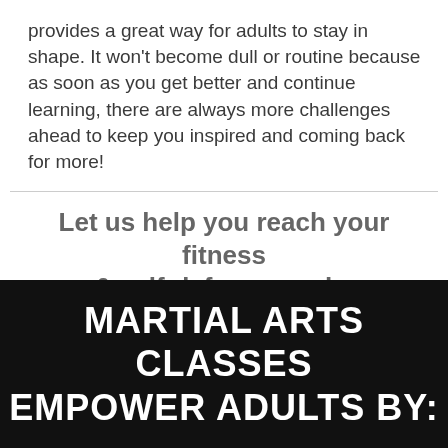provides a great way for adults to stay in shape. It won't become dull or routine because as soon as you get better and continue learning, there are always more challenges ahead to keep you inspired and coming back for more!
Let us help you reach your fitness & self-defense goals, while gaining confidence and relieving stress!
MARTIAL ARTS CLASSES EMPOWER ADULTS BY: